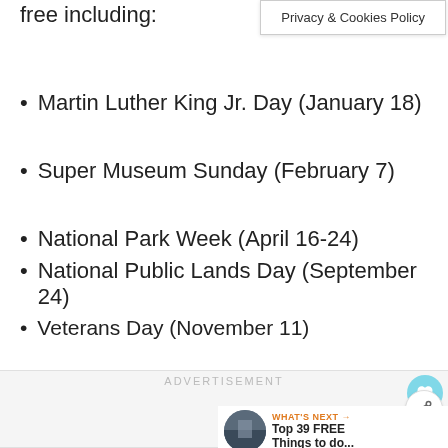free including:
[Figure (screenshot): Privacy & Cookies Policy banner/tooltip]
Martin Luther King Jr. Day (January 18)
Super Museum Sunday (February 7)
National Park Week (April 16-24)
National Public Lands Day (September 24)
Veterans Day (November 11)
ADVERTISEMENT
1.3K
WHAT'S NEXT → Top 39 FREE Things to do...